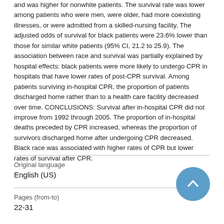and was higher for nonwhite patients. The survival rate was lower among patients who were men, were older, had more coexisting illnesses, or were admitted from a skilled-nursing facility. The adjusted odds of survival for black patients were 23.6% lower than those for similar white patients (95% CI, 21.2 to 25.9). The association between race and survival was partially explained by hospital effects: black patients were more likely to undergo CPR in hospitals that have lower rates of post-CPR survival. Among patients surviving in-hospital CPR, the proportion of patients discharged home rather than to a health care facility decreased over time. CONCLUSIONS: Survival after in-hospital CPR did not improve from 1992 through 2005. The proportion of in-hospital deaths preceded by CPR increased, whereas the proportion of survivors discharged home after undergoing CPR decreased. Black race was associated with higher rates of CPR but lower rates of survival after CPR.
Original language
English (US)
Pages (from-to)
22-31